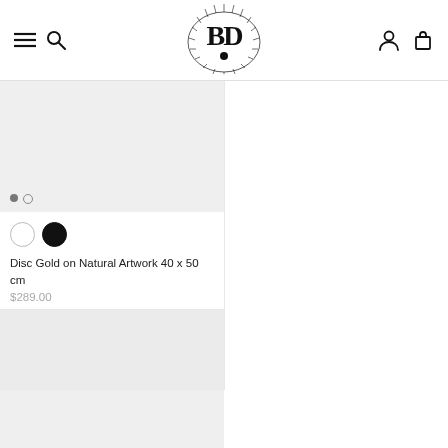Navigation header with logo, menu, search, account and cart icons
[Figure (photo): Product image placeholder for Disc Gold on Natural Artwork 40 x 50 cm - light gray rectangle with slide indicators]
[Figure (photo): Product image placeholder for Disc Copper on Black Artwork 40 x 50 cm - light gray rectangle with slide indicators]
Disc Gold on Natural Artwork 40 x 50 cm
$289.00
Disc Copper on Black Artwork 40 x 50 cm
$289.00
[Figure (photo): Product image placeholder - bottom left, light gray rectangle]
[Figure (photo): Product image placeholder - bottom right, light gray rectangle]